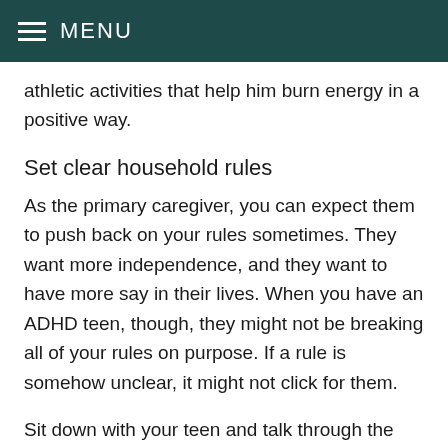MENU
athletic activities that help him burn energy in a positive way.
Set clear household rules
As the primary caregiver, you can expect them to push back on your rules sometimes. They want more independence, and they want to have more say in their lives. When you have an ADHD teen, though, they might not be breaking all of your rules on purpose. If a rule is somehow unclear, it might not click for them.
Sit down with your teen and talk through the household rules. Make sure